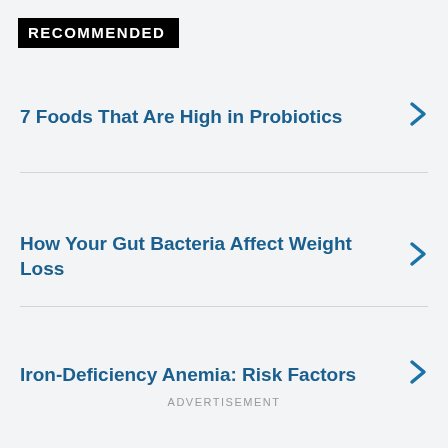RECOMMENDED
7 Foods That Are High in Probiotics
How Your Gut Bacteria Affect Weight Loss
Iron-Deficiency Anemia: Risk Factors
ADVERTISEMENT